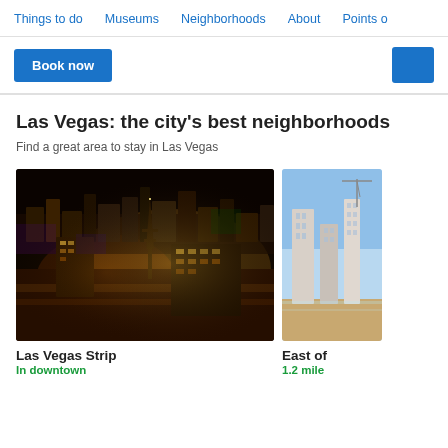Things to do   Museums   Neighborhoods   About   Points of
Book now
Las Vegas: the city's best neighborhoods
Find a great area to stay in Las Vegas
[Figure (photo): Aerial night view of the Las Vegas Strip showing illuminated hotels and casinos]
[Figure (photo): Daytime view of a coastal or urban area with buildings and blue sky]
Las Vegas Strip
In downtown
East of
1.2 mile